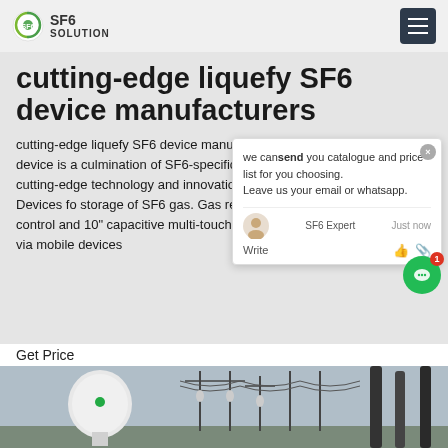SF6 SOLUTION
cutting-edge liquefy SF6 device manufacturers
cutting-edge liquefy SF6 device manufacturers Jan 24, 2020This device is a culmination of SF6-specific RD, which guarantees the most cutting-edge technology and innovations on the market. Features. Devices for storage of SF6 gas. Gas recovery down to <. Automatic control and 10" capacitive multi-touch panel. Optional remote control via mobile devices
Get Price
[Figure (photo): Electrical substation equipment with SF6 device, power lines and insulators visible]